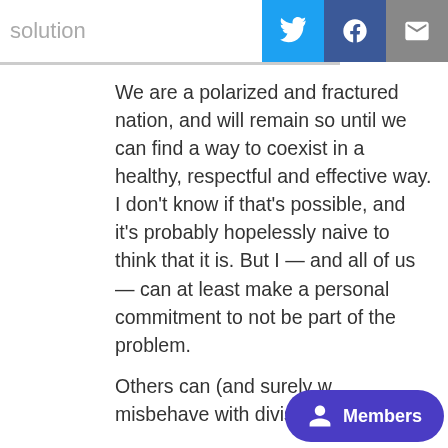solution
We are a polarized and fractured nation, and will remain so until we can find a way to coexist in a healthy, respectful and effective way. I don’t know if that’s possible, and it’s probably hopelessly naive to think that it is. But I — and all of us — can at least make a personal commitment to not be part of the problem.
Others can (and surely w… misbehave with divisive rhetoric